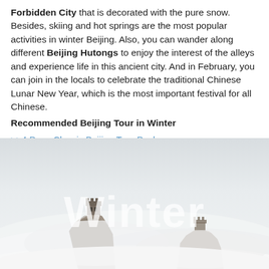Forbidden City that is decorated with the pure snow. Besides, skiing and hot springs are the most popular activities in winter Beijing. Also, you can wander along different Beijing Hutongs to enjoy the interest of the alleys and experience life in this ancient city. And in February, you can join in the locals to celebrate the traditional Chinese Lunar New Year, which is the most important festival for all Chinese.
Recommended Beijing Tour in Winter
>>4 Days Classic Beijing Tour Package
>>4 Days Beijing Food Hunting Tour
[Figure (photo): Winter scene of the Great Wall of China emerging from misty fog and clouds, with the word 'Winter' overlaid in large white semi-transparent text. Two peaks of the Great Wall are visible through the white fog.]